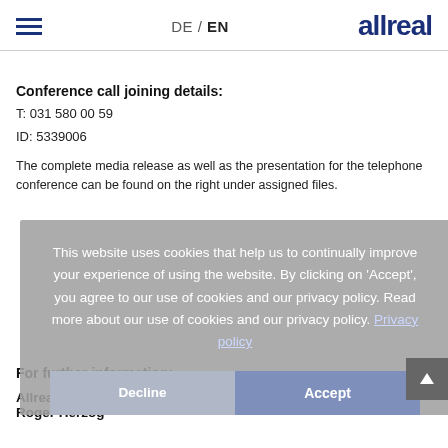DE / EN   allreal
Conference call joining details:
T: 031 580 00 59
ID: 5339006
The complete media release as well as the presentation for the telephone conference can be found on the right under assigned files.
This website uses cookies that help us to continually improve your experience of using the website. By clicking on 'Accept', you agree to our use of cookies and our privacy policy. Read more about our use of cookies and our privacy policy. Privacy policy
For further information:
Allreal Group
Roger Herzog